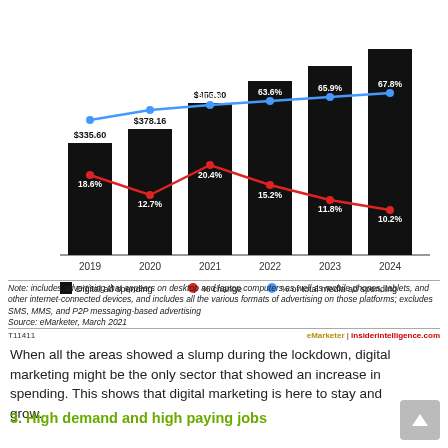[Figure (grouped-bar-chart): Digital ad spending (billions) with % change and % of total media ad spending]
Note: includes advertising that appears on desktop and laptop computers as well as mobile phones, tablets, and other internet-connected devices, and includes all the various formats of advertising on those platforms; excludes SMS, MMS, and P2P messaging-based advertising
Source: eMarketer, March 2021
T11411   eMarketer | insiderintelligence.com
When all the areas showed a slump during the lockdown, digital marketing might be the only sector that showed an increase in spending. This shows that digital marketing is here to stay and grow.
3. High demand and high paying jobs
A Linkedin report revealed that 50% of the top ten marketing job opportunities are in the digital and media